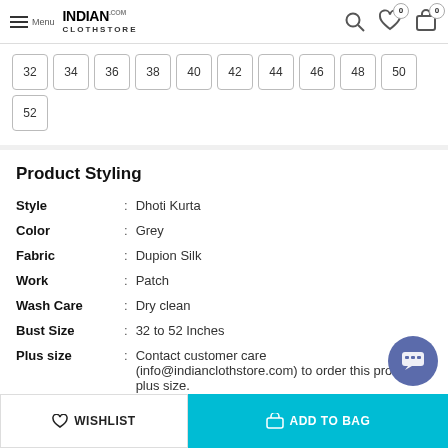INDIAN CLOTHSTORE.COM — Menu, Search, Wishlist (0), Bag (0)
32
34
36
38
40
42
44
46
48
50
52
Product Styling
Style : Dhoti Kurta
Color : Grey
Fabric : Dupion Silk
Work : Patch
Wash Care : Dry clean
Bust Size : 32 to 52 Inches
Plus size : Contact customer care (info@indianclothstore.com) to order this product in plus size.